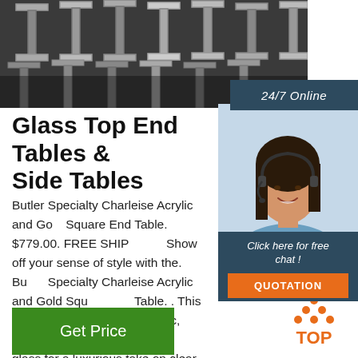[Figure (photo): Steel I-beams or channel steel beams stacked, industrial photo, grey tones]
24/7 Online
[Figure (photo): Female customer service agent wearing headset, smiling, white/blue blouse]
Click here for free chat !
QUOTATION
Glass Top End Tables & Side Tables
Butler Specialty Charleise Acrylic and Gold Square End Table. $779.00. FREE SHIP... Show off your sense of style with the. Butler Specialty Charleise Acrylic and Gold Square End Table. . This end table is made from acrylic, stainless steel, and tempered glass for a luxurious take on clear tables.
[Figure (logo): TOP logo with orange dots and orange text]
Get Price